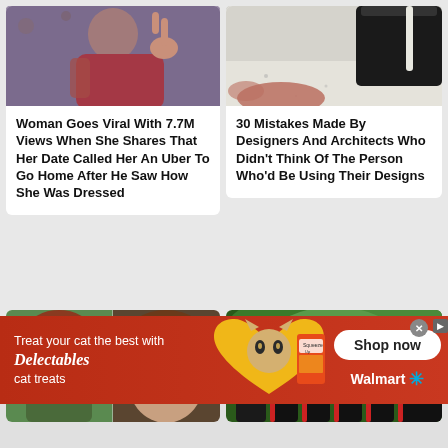[Figure (photo): Woman making peace sign, wearing red and floral top]
Woman Goes Viral With 7.7M Views When She Shares That Her Date Called Her An Uber To Go Home After He Saw How She Was Dressed
[Figure (photo): Black cup or object on light speckled countertop]
30 Mistakes Made By Designers And Architects Who Didn't Think Of The Person Who'd Be Using Their Designs
[Figure (photo): Left half: animated cartoon man (Tarzan-like); Right half: real man with brown hair close-up]
[Figure (photo): Graduation ceremony with students in black gowns and red sashes]
[Figure (advertisement): Delectables cat treats ad — Treat your cat the best with Delectables cat treats. Shop now at Walmart.]